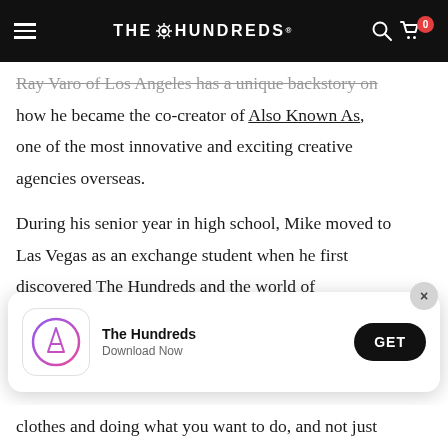THE HUNDREDS
Ray Varo of Los Angeles has a unique backstory on how he became the co-creator of Also Known As, one of the most innovative and exciting creative agencies overseas.
During his senior year in high school, Mike moved to Las Vegas as an exchange student when he first discovered The Hundreds and the world of streetwear, which breathed new life into his own perspective on personal creativity.
[Figure (screenshot): App store download banner for 'The Hundreds' app showing app icon, name, 'Download Now' subtitle, and a GET button]
clothes and doing what you want to do, and not just